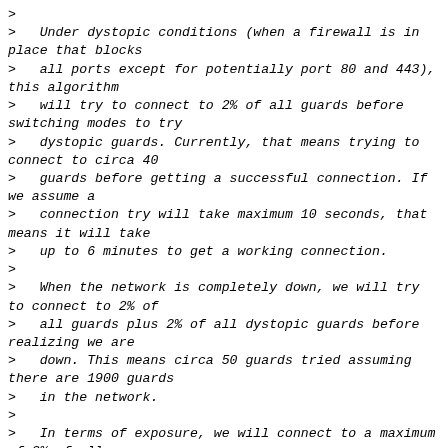>
>    Under dystopic conditions (when a firewall is in place that blocks
>    all ports except for potentially port 80 and 443), this algorithm
>    will try to connect to 2% of all guards before switching modes to try
>    dystopic guards. Currently, that means trying to connect to circa 40
>    guards before getting a successful connection. If we assume a
>    connection try will take maximum 10 seconds, that means it will take
>    up to 6 minutes to get a working connection.
>
>    When the network is completely down, we will try to connect to 2% of
>    all guards plus 2% of all dystopic guards before realizing we are
>    down. This means circa 50 guards tried assuming there are 1900 guards
>    in the network.
>
>    In terms of exposure, we will connect to a maximum of 2% of all
>    guards plus 2% of all dystopic guards, or 3% of all guards,
>    whichever is lower. If N is the number of guards, and k is the
>    number of guards an attacker controls, that means